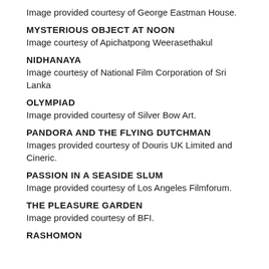Image provided courtesy of George Eastman House.
MYSTERIOUS OBJECT AT NOON
Image courtesy of Apichatpong Weerasethakul
NIDHANAYA
Image courtesy of National Film Corporation of Sri Lanka
OLYMPIAD
Image provided courtesy of Silver Bow Art.
PANDORA AND THE FLYING DUTCHMAN
Images provided courtesy of Douris UK Limited and Cineric.
PASSION IN A SEASIDE SLUM
Image provided courtesy of Los Angeles Filmforum.
THE PLEASURE GARDEN
Image provided courtesy of BFI.
RASHOMON